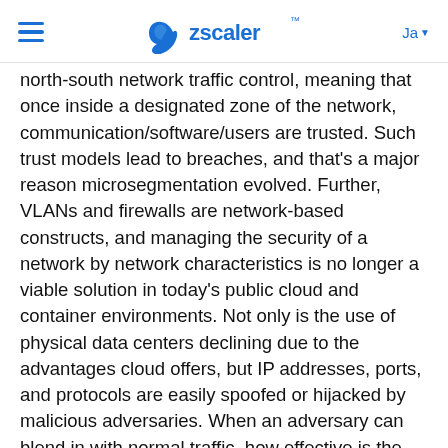Zscaler
north-south network traffic control, meaning that once inside a designated zone of the network, communication/software/users are trusted. Such trust models lead to breaches, and that's a major reason microsegmentation evolved. Further, VLANs and firewalls are network-based constructs, and managing the security of a network by network characteristics is no longer a viable solution in today's public cloud and container environments. Not only is the use of physical data centers declining due to the advantages cloud offers, but IP addresses, ports, and protocols are easily spoofed or hijacked by malicious adversaries. When an adversary can blend in with normal traffic, how effective is the security control?
Further, data center-defined segments are too big